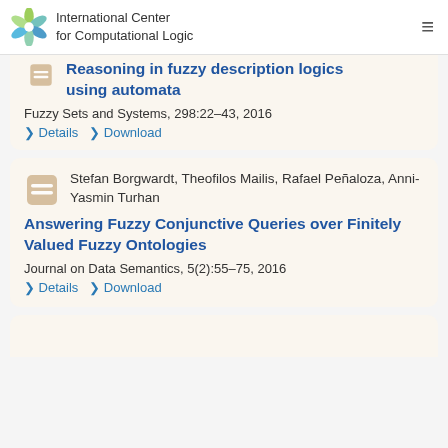International Center for Computational Logic
Reasoning in fuzzy description logics using automata
Fuzzy Sets and Systems, 298:22–43, 2016
❯ Details   ❯ Download
Stefan Borgwardt, Theofilos Mailis, Rafael Peñaloza, Anni-Yasmin Turhan
Answering Fuzzy Conjunctive Queries over Finitely Valued Fuzzy Ontologies
Journal on Data Semantics, 5(2):55–75, 2016
❯ Details   ❯ Download